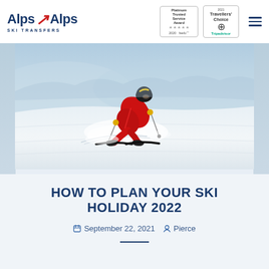[Figure (logo): Alps 2 Alps Ski Transfers logo with red stylized '2' arrow]
[Figure (other): Platinum Trusted Service Award 2020 feefo 5-star badge]
[Figure (other): Travellers' Choice Tripadvisor award badge]
[Figure (photo): Skier in red suit carving aggressively on a snowy slope with powder spray]
HOW TO PLAN YOUR SKI HOLIDAY 2022
September 22, 2021   Pierce